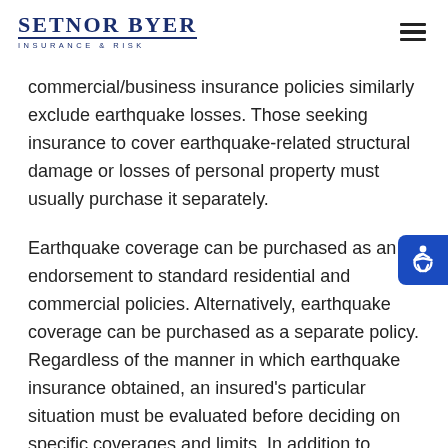SETNOR BYER INSURANCE & RISK
commercial/business insurance policies similarly exclude earthquake losses. Those seeking insurance to cover earthquake-related structural damage or losses of personal property must usually purchase it separately.
Earthquake coverage can be purchased as an endorsement to standard residential and commercial policies. Alternatively, earthquake coverage can be purchased as a separate policy. Regardless of the manner in which earthquake insurance obtained, an insured's particular situation must be evaluated before deciding on specific coverages and limits. In addition to situation-specific considerations, an